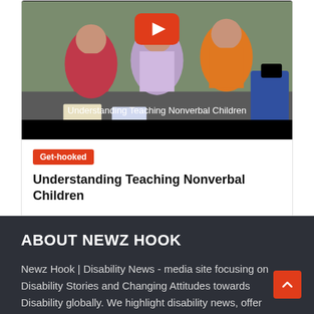[Figure (screenshot): YouTube video thumbnail showing children in colorful headscarves sitting outdoors with books, with a red YouTube play button overlay and the caption 'Understanding Teaching Nonverbal Children' on a dark bar.]
Get-hooked
Understanding Teaching Nonverbal Children
ABOUT NEWZ HOOK
Newz Hook | Disability News - media site focusing on Disability Stories and Changing Attitudes towards Disability globally. We highlight disability news, offer inclusive solutions and create accessible collaborations. Our focus is to be an inclusive Changing of awareness that is based